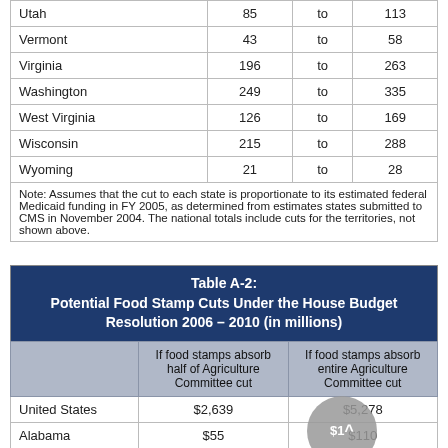| State |  | to |  |
| --- | --- | --- | --- |
| Utah | 85 | to | 113 |
| Vermont | 43 | to | 58 |
| Virginia | 196 | to | 263 |
| Washington | 249 | to | 335 |
| West Virginia | 126 | to | 169 |
| Wisconsin | 215 | to | 288 |
| Wyoming | 21 | to | 28 |
|  | If food stamps absorb half of Agriculture Committee cut | If food stamps absorb entire Agriculture Committee cut |
| --- | --- | --- |
| United States | $2,639 | $5,278 |
| Alabama | $55 | $110 |